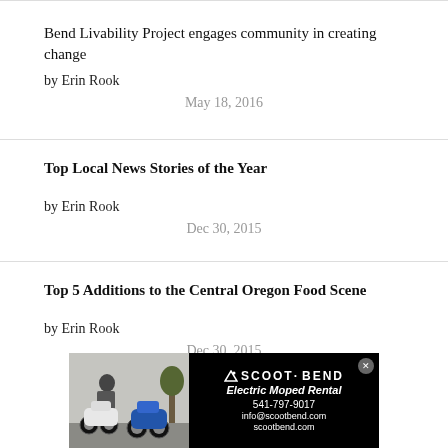Bend Livability Project engages community in creating change by Erin Rook
May 18, 2016
Top Local News Stories of the Year
by Erin Rook
Dec 30, 2015
Top 5 Additions to the Central Oregon Food Scene
by Erin Rook
Dec 30, 2015
[Figure (advertisement): Scoot Bend Electric Moped Rental advertisement showing two electric mopeds and company contact info: 541-797-9017, info@scootbend.com, scootbend.com]